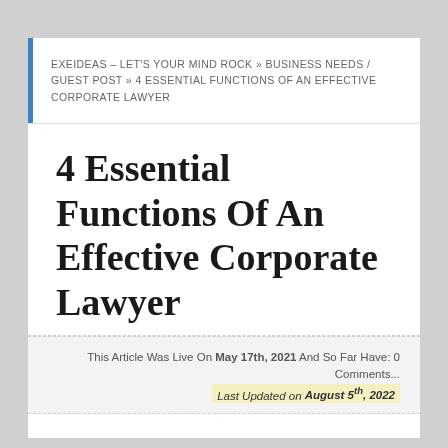EXEIDEAS – LET'S YOUR MIND ROCK » BUSINESS NEEDS / GUEST POST » 4 ESSENTIAL FUNCTIONS OF AN EFFECTIVE CORPORATE LAWYER
4 Essential Functions Of An Effective Corporate Lawyer
This Article Was Live On May 17th, 2021 And So Far Have: 0 Comments... Last Updated on August 5th, 2022